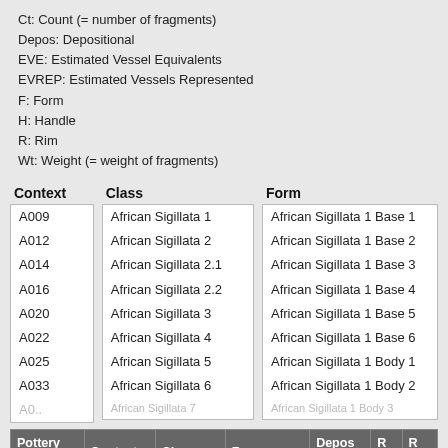Ct: Count (= number of fragments)
Depos: Depositional
EVE: Estimated Vessel Equivalents
EVREP: Estimated Vessels Represented
F: Form
H: Handle
R: Rim
Wt: Weight (= weight of fragments)
| Context | Class | Form |
| --- | --- | --- |
| A009 | African Sigillata 1 | African Sigillata 1 Base 1 |
| A012 | African Sigillata 2 | African Sigillata 1 Base 2 |
| A014 | African Sigillata 2.1 | African Sigillata 1 Base 3 |
| A016 | African Sigillata 2.2 | African Sigillata 1 Base 4 |
| A020 | African Sigillata 3 | African Sigillata 1 Base 5 |
| A022 | African Sigillata 4 | African Sigillata 1 Base 6 |
| A025 | African Sigillata 5 | African Sigillata 1 Body 1 |
| A033 | African Sigillata 6 | African Sigillata 1 Body 2 |
| Pottery Group | Context | Class▲ | Form | Depos Status | R Ct | R EV |
| --- | --- | --- | --- | --- | --- | --- |
| PEA 097 |  |  | African Sigillata ... |  |  |  |